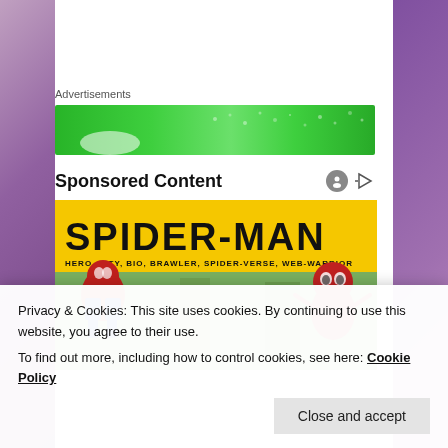Advertisements
[Figure (other): Green advertisement banner]
Sponsored Content
[Figure (other): Spider-Man comic book advertisement: SPIDER-MAN - HERO, CITY, BIO, BRAWLER, SPIDER-VERSE, WEB-WARRIOR. Yellow banner with Spider-Man characters below.]
Privacy & Cookies: This site uses cookies. By continuing to use this website, you agree to their use.
To find out more, including how to control cookies, see here: Cookie Policy
Close and accept